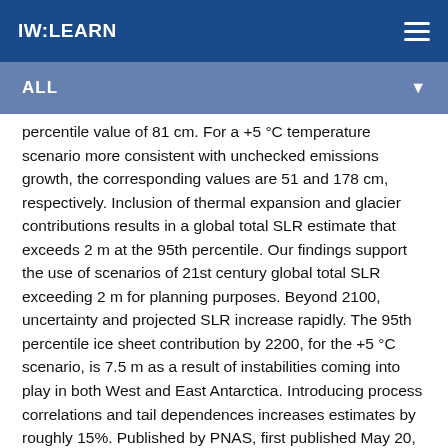IW:LEARN
ALL
percentile value of 81 cm. For a +5 °C temperature scenario more consistent with unchecked emissions growth, the corresponding values are 51 and 178 cm, respectively. Inclusion of thermal expansion and glacier contributions results in a global total SLR estimate that exceeds 2 m at the 95th percentile. Our findings support the use of scenarios of 21st century global total SLR exceeding 2 m for planning purposes. Beyond 2100, uncertainty and projected SLR increase rapidly. The 95th percentile ice sheet contribution by 2200, for the +5 °C scenario, is 7.5 m as a result of instabilities coming into play in both West and East Antarctica. Introducing process correlations and tail dependences increases estimates by roughly 15%. Published by PNAS, first published May 20, 2019. This article is published under the terms of the Creative Commons Attribution-NonCommercial-NoDerivatives License 4.0 (CC BY-NC-ND).